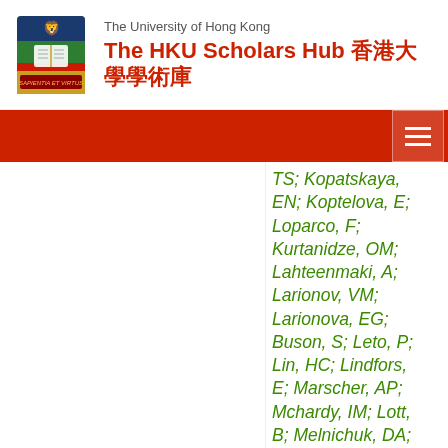The University of Hong Kong — The HKU Scholars Hub 香港大學學術庫
TS; Kopatskaya, EN; Koptelova, E; Loparco, F; Kurtanidze, OM; Lahteenmaki, A; Larionov, VM; Larionova, EG; Buson, S; Leto, P; Lin, HC; Lindfors, E; Marscher, AP; Mchardy, IM; Lott, B; Melnichuk, DA; Mommert, M; Nilsson, K; Di Paola, A; Reinthal, R; Caliandro, GA; Richter, GM; RocaSogorb, M;